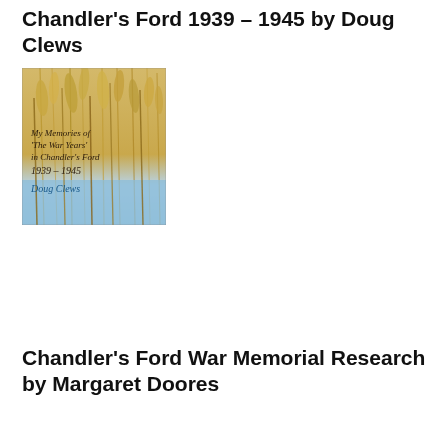Chandler's Ford 1939 – 1945 by Doug Clews
[Figure (photo): Book cover showing 'My Memories of ‘The War Years’ in Chandler’s Ford 1939 – 1945 by Doug Clews' with reeds/grasses and blue sky background]
Chandler’s Ford War Memorial Research by Margaret Doores